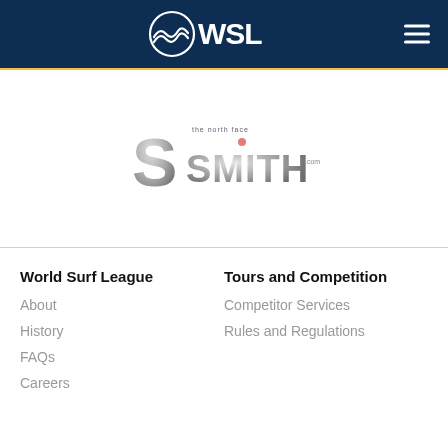WSL - World Surf League
[Figure (logo): Smith Optics sponsor logo with stylized 'S' and 'SMITH' text, overlaid on a circular metallic emblem]
World Surf League
About
History
FAQs
Careers
Tours and Competition
Competitor Services
Rules and Regulations